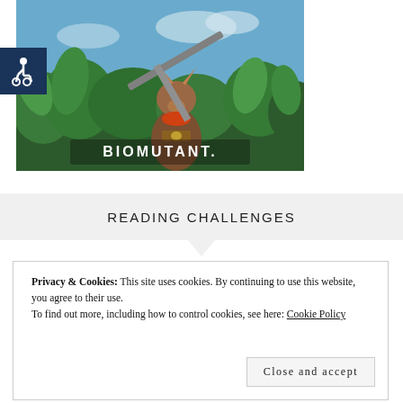[Figure (illustration): Biomutant game cover art showing an anthropomorphic creature holding a large sword, set against a lush jungle background. The BIOMUTANT logo appears at the bottom of the image.]
[Figure (logo): Accessibility icon (wheelchair symbol) in white on a dark navy blue square background.]
READING CHALLENGES
Privacy & Cookies: This site uses cookies. By continuing to use this website, you agree to their use.
To find out more, including how to control cookies, see here: Cookie Policy
Close and accept